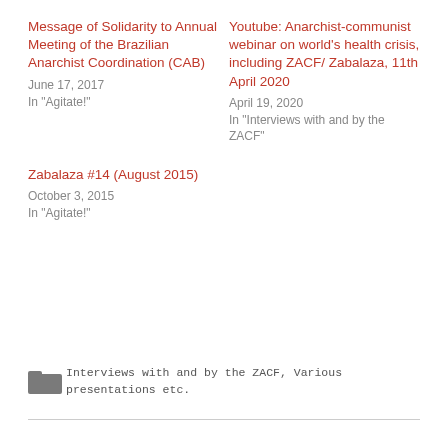Message of Solidarity to Annual Meeting of the Brazilian Anarchist Coordination (CAB)
June 17, 2017
In "Agitate!"
Youtube: Anarchist-communist webinar on world's health crisis, including ZACF/ Zabalaza, 11th April 2020
April 19, 2020
In "Interviews with and by the ZACF"
Zabalaza #14 (August 2015)
October 3, 2015
In "Agitate!"
Interviews with and by the ZACF, Various presentations etc.